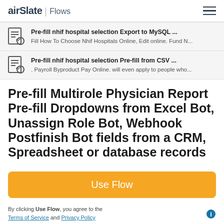airSlate | Flows
Pre-fill nhif hospital selection Export to MySQL ...
Fill How To Choose Nhif Hospitals Online, Edit online. Fund N...
Pre-fill nhif hospital selection Pre-fill from CSV ...
. Payroll Byproduct Pay Online. will even apply to people who...
Pre-fill Multirole Physician Report Pre-fill Dropdowns from Excel Bot, Unassign Role Bot, Webhook Postfinish Bot fields from a CRM, Spreadsheet or database records
Use Flow
By clicking Use Flow, you agree to the Terms of Service and Privacy Policy